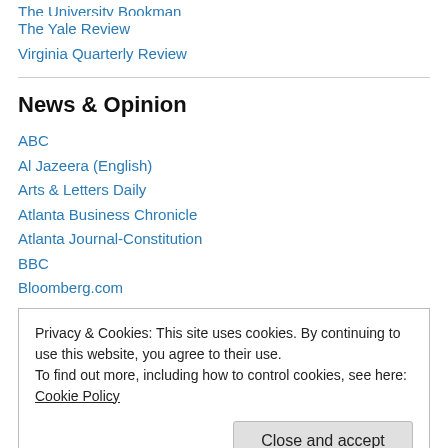The University Bookman
The Yale Review
Virginia Quarterly Review
News & Opinion
ABC
Al Jazeera (English)
Arts & Letters Daily
Atlanta Business Chronicle
Atlanta Journal-Constitution
BBC
Bloomberg.com
Privacy & Cookies: This site uses cookies. By continuing to use this website, you agree to their use.
To find out more, including how to control cookies, see here: Cookie Policy
Close and accept
Dallas Morning News